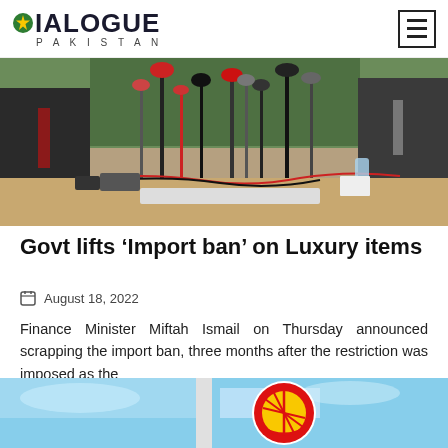DIALOGUE PAKISTAN
[Figure (photo): Press conference scene with multiple microphones from various media outlets on a table, two people in suits visible on either side]
Govt lifts ‘Import ban’ on Luxury items
August 18, 2022
Finance Minister Miftah Ismail on Thursday announced scrapping the import ban, three months after the restriction was imposed as the
[Figure (photo): Partial view of Shell logo sign against a blue sky background]